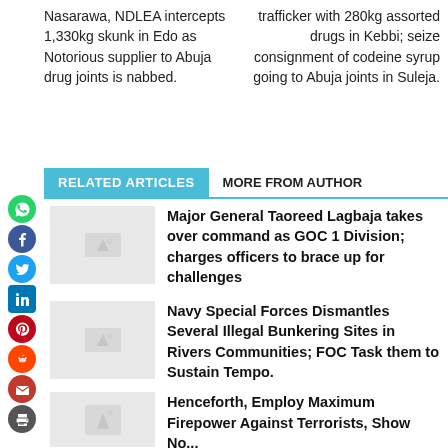Nasarawa, NDLEA intercepts 1,330kg skunk in Edo as Notorious supplier to Abuja drug joints is nabbed.
trafficker with 280kg assorted drugs in Kebbi; seize consignment of codeine syrup going to Abuja joints in Suleja.
RELATED ARTICLES   MORE FROM AUTHOR
Major General Taoreed Lagbaja takes over command as GOC 1 Division; charges officers to brace up for challenges
Navy Special Forces Dismantles Several Illegal Bunkering Sites in Rivers Communities; FOC Task them to Sustain Tempo.
Henceforth, Employ Maximum Firepower Against Terrorists, Show No...